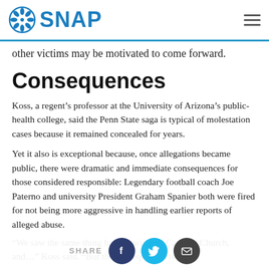SNAP
other victims may be motivated to come forward.
Consequences
Koss, a regent’s professor at the University of Arizona’s public-health college, said the Penn State saga is typical of molestation cases because it remained concealed for years.
Yet it also is exceptional because, once allegations became public, there were dramatic and immediate consequences for those considered responsible: Legendary football coach Joe Paterno and university President Graham Spanier both were fired for not being more aggressive in handling earlier reports of alleged abuse.
“We saw the same thing happen with the Catholic Church, and…” Koss said. “But the consequences to…